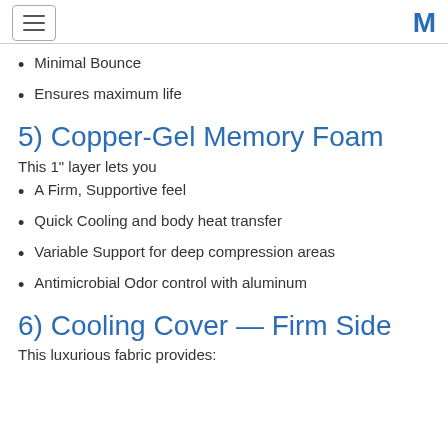[hamburger menu] [M logo]
Minimal Bounce
Ensures maximum life
5) Copper-Gel Memory Foam
This 1″ layer lets you
A Firm, Supportive feel
Quick Cooling and body heat transfer
Variable Support for deep compression areas
Antimicrobial Odor control with aluminum
6) Cooling Cover — Firm Side
This luxurious fabric provides: